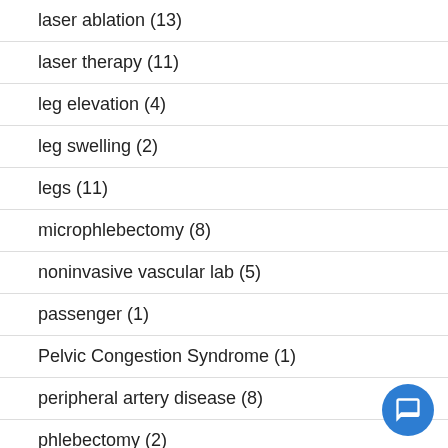laser ablation (13)
laser therapy (11)
leg elevation (4)
leg swelling (2)
legs (11)
microphlebectomy (8)
noninvasive vascular lab (5)
passenger (1)
Pelvic Congestion Syndrome (1)
peripheral artery disease (8)
phlebectomy (2)